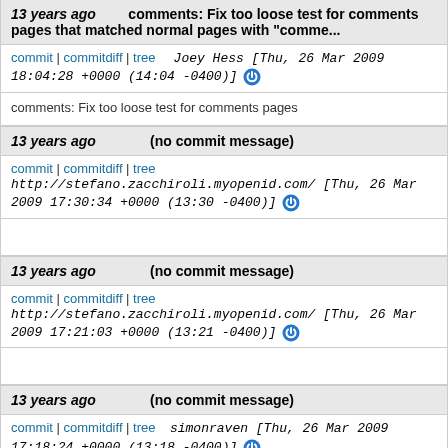13 years ago   comments: Fix too loose test for comments pages that matched normal pages with "comme...
commit | commitdiff | tree   Joey Hess [Thu, 26 Mar 2009 18:04:28 +0000 (14:04 -0400)]
comments: Fix too loose test for comments pages
13 years ago   (no commit message)
commit | commitdiff | tree   http://stefano.zacchiroli.myopenid.com/ [Thu, 26 Mar 2009 17:30:34 +0000 (13:30 -0400)]
13 years ago   (no commit message)
commit | commitdiff | tree   http://stefano.zacchiroli.myopenid.com/ [Thu, 26 Mar 2009 17:21:03 +0000 (13:21 -0400)]
13 years ago   (no commit message)
commit | commitdiff | tree   simonraven [Thu, 26 Mar 2009 17:18:24 +0000 (13:18 -0400)]